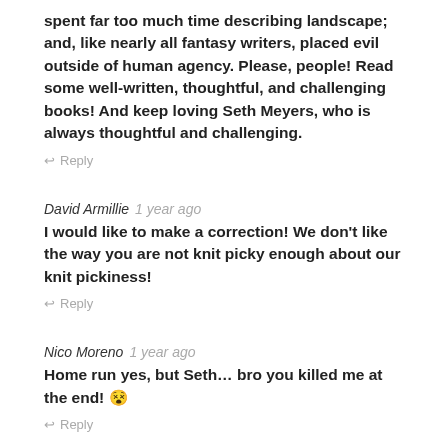spent far too much time describing landscape; and, like nearly all fantasy writers, placed evil outside of human agency. Please, people! Read some well-written, thoughtful, and challenging books! And keep loving Seth Meyers, who is always thoughtful and challenging.
↩ Reply
David Armillie 1 year ago
I would like to make a correction! We don't like the way you are not knit picky enough about our knit pickiness!
↩ Reply
Nico Moreno 1 year ago
Home run yes, but Seth… bro you killed me at the end! 😵
↩ Reply